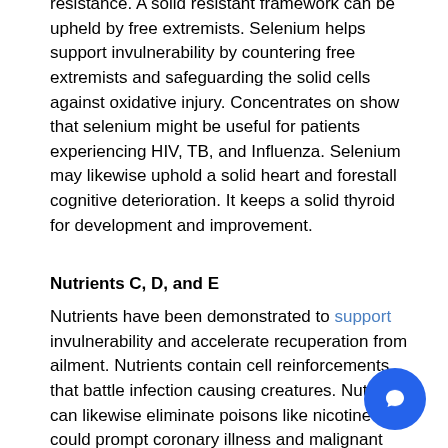resistance. A solid resistant framework can be upheld by free extremists. Selenium helps support invulnerability by countering free extremists and safeguarding the solid cells against oxidative injury. Concentrates on show that selenium might be useful for patients experiencing HIV, TB, and Influenza. Selenium may likewise uphold a solid heart and forestall cognitive deterioration. It keeps a solid thyroid for development and improvement.
Nutrients C, D, and E
Nutrients have been demonstrated to support invulnerability and accelerate recuperation from ailment. Nutrients contain cell reinforcements that battle infection causing creatures. Nutrients can likewise eliminate poisons like nicotine that could prompt coronary illness and malignant growth. Nutrients can assist you with having a better heart and skin.
[Figure (other): Blue circular chat/message button in bottom right corner]